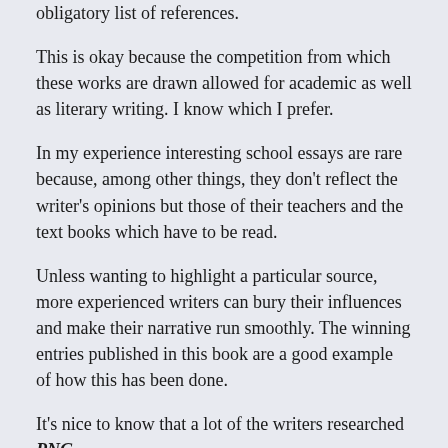obligatory list of references.
This is okay because the competition from which these works are drawn allowed for academic as well as literary writing. I know which I prefer.
In my experience interesting school essays are rare because, among other things, they don't reflect the writer's opinions but those of their teachers and the text books which have to be read.
Unless wanting to highlight a particular source, more experienced writers can bury their influences and make their narrative run smoothly. The winning entries published in this book are a good example of how this has been done.
It's nice to know that a lot of the writers researched PNG